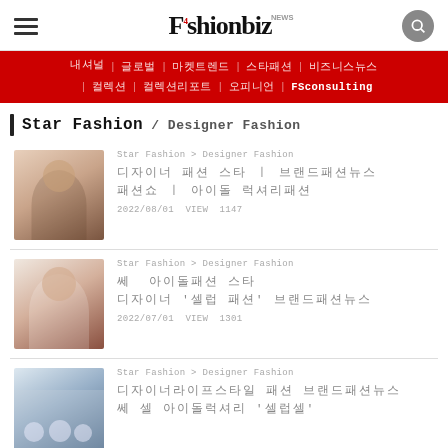Fashionbiz
내셔널 | 글로벌 | 마켓트렌드 | 스타패션 | 비즈니스뉴스 | 컬렉션 | 컬렉션리포트 | 오피니언 | FSconsulting
Star Fashion / Designer Fashion
Star Fashion > Designer Fashion
디자이너 패션 스타 패션 ㅣ 브랜드패션뉴스
패션쇼 ㅣ 아이돌 럭셔리패션
2022/08/01 VIEW 1147
Star Fashion > Designer Fashion
쎄 아이돌 패션 스타
디자이너 '셀럽 패션' 브랜드패션뉴스
2022/07/01 VIEW 1301
Star Fashion > Designer Fashion
디자이너라이프스타일 패션 브랜드패션뉴스
쎄 셀 아이돌럭셔리 '셀럽셀'
2022/06/01 VIEW ...